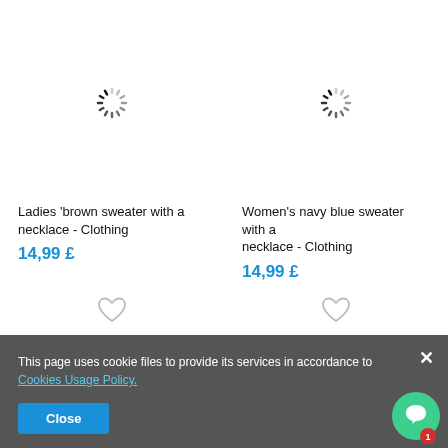[Figure (illustration): Loading spinner for left product image (ladies brown sweater)]
[Figure (illustration): Loading spinner for right product image (women's navy blue sweater)]
Ladies 'brown sweater with a necklace - Clothing
14,99 £
Women's navy blue sweater with a necklace - Clothing
14,99 £
[Figure (illustration): Heart/wishlist icon for left product]
[Figure (illustration): Heart/wishlist icon for right product]
This page uses cookie files to provide its services in accordance to Cookies Usage Policy.
Close
[Figure (illustration): Green chat support button with notification badge showing 1]